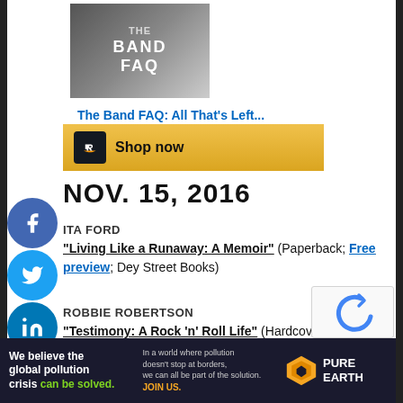[Figure (illustration): Book cover for 'The Band FAQ: All That's Left...' shown as a product card with image, title link in blue, price $7.55, and an Amazon 'Shop now' button in gold]
NOV. 15, 2016
ITA FORD
"Living Like a Runaway: A Memoir" (Paperback; Free preview; Dey Street Books)
ROBBIE ROBERTSON
"Testimony: A Rock 'n' Roll Life" (Hardcover; Kindle; Crown Archetype)
[Figure (logo): Pure Earth advertisement banner: 'We believe the global pollution crisis can be solved.' with Pure Earth logo on right]